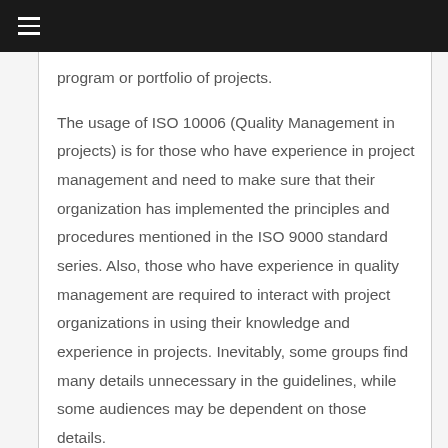program or portfolio of projects.
The usage of ISO 10006 (Quality Management in projects) is for those who have experience in project management and need to make sure that their organization has implemented the principles and procedures mentioned in the ISO 9000 standard series. Also, those who have experience in quality management are required to interact with project organizations in using their knowledge and experience in projects. Inevitably, some groups find many details unnecessary in the guidelines, while some audiences may be dependent on those details.